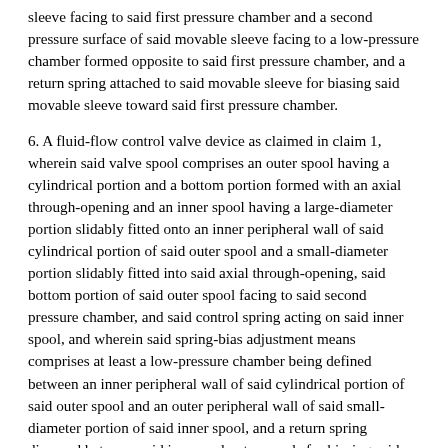sleeve facing to said first pressure chamber and a second pressure surface of said movable sleeve facing to a low-pressure chamber formed opposite to said first pressure chamber, and a return spring attached to said movable sleeve for biasing said movable sleeve toward said first pressure chamber.
6. A fluid-flow control valve device as claimed in claim 1, wherein said valve spool comprises an outer spool having a cylindrical portion and a bottom portion formed with an axial through-opening and an inner spool having a large-diameter portion slidably fitted onto an inner peripheral wall of said cylindrical portion of said outer spool and a small-diameter portion slidably fitted into said axial through-opening, said bottom portion of said outer spool facing to said second pressure chamber, and said control spring acting on said inner spool, and wherein said spring-bias adjustment means comprises at least a low-pressure chamber being defined between an inner peripheral wall of said cylindrical portion of said outer spool and an outer peripheral wall of said small-diameter portion of said inner spool, and a return spring disposed between said inner and outer spools for biasing said inner spool toward said first pressure chamber and biasing said outer spool toward said second pressure chamber.
7. A fluid-flow control valve device as claimed in claim 6, wherein said return spring, disposed between said inner and outer spool